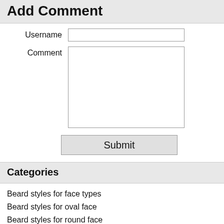Add Comment
Username [input field]
Comment [textarea]
Submit
Categories
Beard styles for face types
Beard styles for oval face
Beard styles for round face
Beard styles for small face